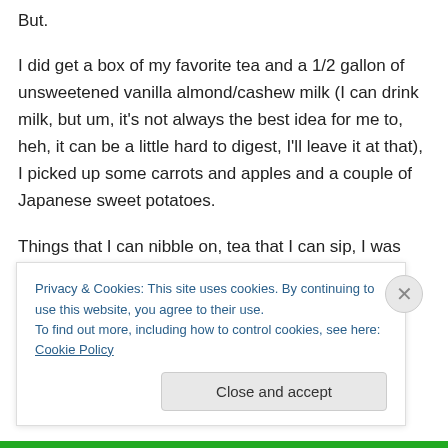But.
I did get a box of my favorite tea and a 1/2 gallon of unsweetened vanilla almond/cashew milk (I can drink milk, but um, it's not always the best idea for me to, heh, it can be a little hard to digest, I'll leave it at that), I picked up some carrots and apples and a couple of Japanese sweet potatoes.
Things that I can nibble on, tea that I can sip, I was told very firmly to drink what ever coffee is in the house, they
Privacy & Cookies: This site uses cookies. By continuing to use this website, you agree to their use.
To find out more, including how to control cookies, see here: Cookie Policy
Close and accept